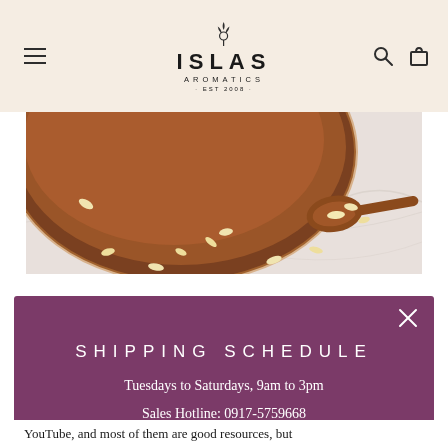ISLAS AROMATICS · EST 2008
[Figure (photo): Wooden bowl and wooden spoon with oat flakes scattered on a marble surface, viewed from above at an angle]
SHIPPING SCHEDULE
Tuesdays to Saturdays, 9am to 3pm
Sales Hotline: 0917-5759668
YouTube, and most of them are good resources, but